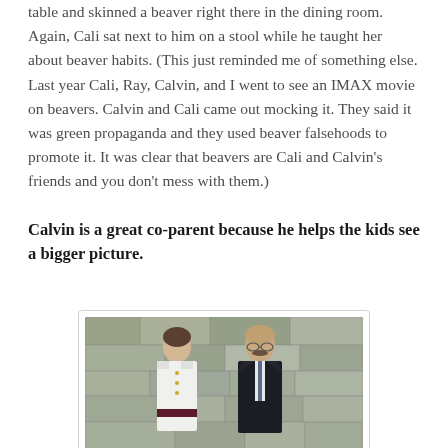table and skinned a beaver right there in the dining room. Again, Cali sat next to him on a stool while he taught her about beaver habits. (This just reminded me of something else. Last year Cali, Ray, Calvin, and I went to see an IMAX movie on beavers. Calvin and Cali came out mocking it. They said it was green propaganda and they used beaver falsehoods to promote it. It was clear that beavers are Cali and Calvin's friends and you don't mess with them.)
Calvin is a great co-parent because he helps the kids see a bigger picture.
[Figure (photo): Two men posing for a formal photo. The younger man on the left is wearing a white military dress uniform with gold buttons and a dark sash. The older man on the right is wearing a dark suit with a tie. They are standing in front of a stone wall.]